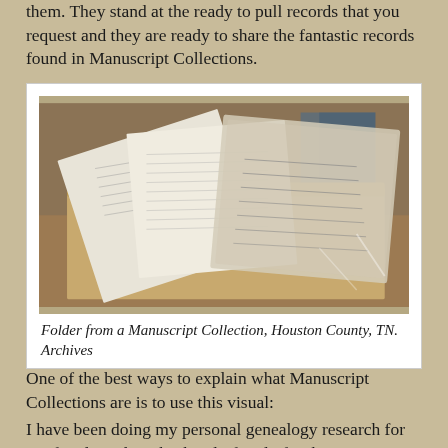them. They stand at the ready to pull records that you request and they are ready to share the fantastic records found in Manuscript Collections.
[Figure (photo): A folder from a Manuscript Collection showing several old handwritten documents fanned out, some in plastic protective sleeves, on a brown surface. Houston County, TN. Archives.]
Folder from a Manuscript Collection, Houston County, TN. Archives
One of the best ways to explain what Manuscript Collections are is to use this visual:
I have been doing my personal genealogy research for my family and my husband's family for the past 26 years. Let's say I have decided that I want to donate everything I have collected to my local archive. This